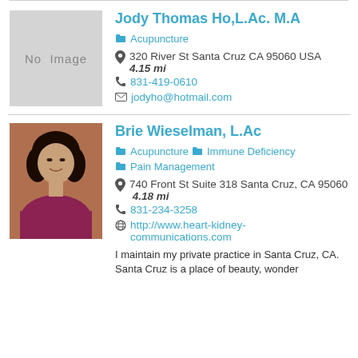Jody Thomas Ho,L.Ac. M.A
Acupuncture
320 River St Santa Cruz CA 95060 USA  4.15 mi
831-419-0610
jodyho@hotmail.com
Brie Wieselman, L.Ac
Acupuncture  Immune Deficiency  Pain Management
740 Front St Suite 318 Santa Cruz, CA 95060  4.18 mi
831-234-3258
http://www.heart-kidney-communications.com
I maintain my private practice in Santa Cruz, CA. Santa Cruz is a place of beauty, wonder